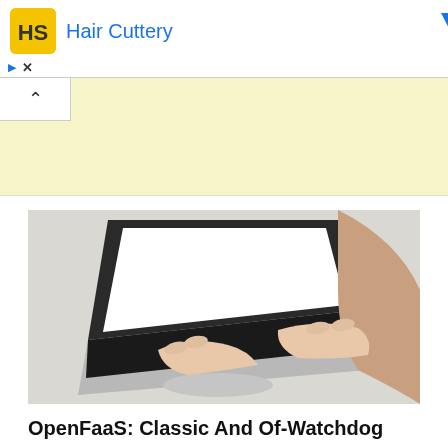[Figure (screenshot): Ad bar showing Hair Cuttery logo and name in blue text, with ad controls (triangle, X) and blue dropdown arrow]
[Figure (other): Yellow banner advertisement area with collapse/chevron button on left]
[Figure (photo): Person viewed from behind typing on a laptop with a bright white screen, in a light environment]
OpenFaaS: Classic And Of-Watchdog